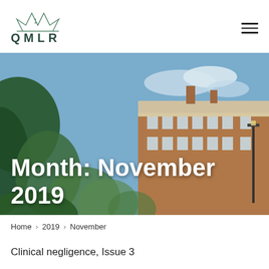QMLR
[Figure (photo): Hero banner showing a Georgian brick building with foliage in the foreground and blue sky. Large white text overlay reads 'Month: November 2019'.]
Month: November 2019
Home > 2019 > November
Clinical negligence, Issue 3